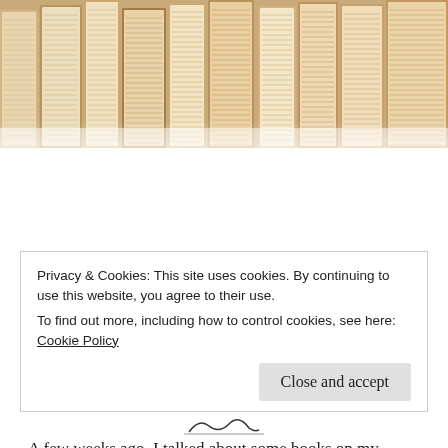[Figure (photo): Hero image of old books stacked upright with pages fanned open, viewed from above, warm sepia tones.]
Top Five Books on my TBR (eBooks)
A few weeks ago, I talked about some books on my physical TBR that I was most excited about. I didn't include the books on my ereader in that post but there are DEFINITELY some exciting books there too and I'd like to talk about. As always, library books
Privacy & Cookies: This site uses cookies. By continuing to use this website, you agree to their use.
To find out more, including how to control cookies, see here: Cookie Policy
Close and accept